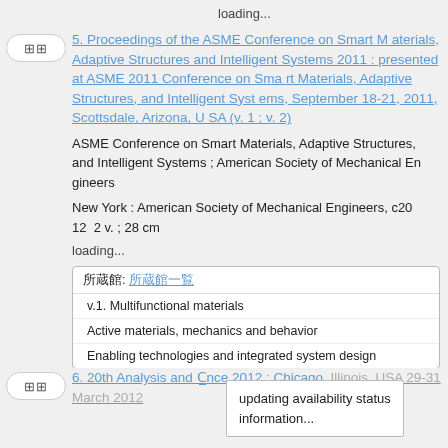loading...
5. Proceedings of the ASME Conference on Smart Materials, Adaptive Structures and Intelligent Systems 2011 : presented at ASME 2011 Conference on Smart Materials, Adaptive Structures, and Intelligent Systems, September 18-21, 2011, Scottsdale, Arizona, USA (v. 1 ; v. 2)
ASME Conference on Smart Materials, Adaptive Structures, and Intelligent Systems ; American Society of Mechanical Engineers
New York : American Society of Mechanical Engineers, c2012  2 v. ; 28 cm
loading...
| 所蔵館: 所蔵館一覧 |
| v.1. Multifunctional materials |
| Active materials, mechanics and behavior |
| Enabling technologies and integrated system design |
6. 20th Analysis and C nce 2012 : Chicago, Illinois, USA 29-31 March 2012
updating availability status information...